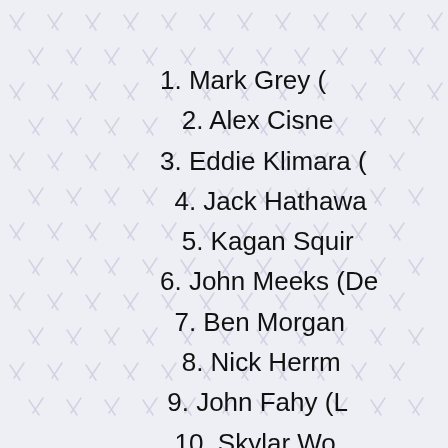1. Mark Grey (
2. Alex Cisne
3. Eddie Klimara (
4. Jack Hathawa
5. Kagan Squir
6. John Meeks (De
7. Ben Morgan
8. Nick Herrm
9. John Fahy (L
10. Skylar Wo
11. Dakota B
12. Jeff Ott (
13. Dylan Dun
14. John Dillo
15. Mike Lahr